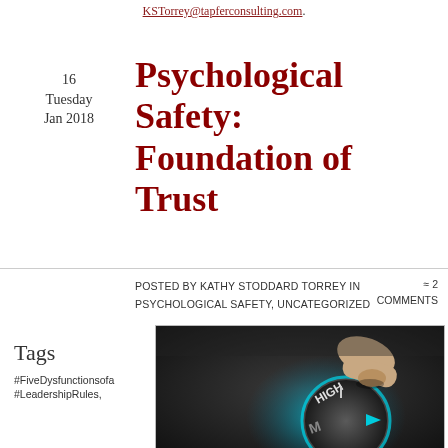KSTorrey@tapferconsulting.com.
16
Tuesday
Jan 2018
Psychological Safety: Foundation of Trust
Posted by Kathy Stoddard Torrey in Psychological Safety, Uncategorized
≈ 2 Comments
Tags
#FiveDysfunctionsofa
#LeadershipRules,
[Figure (photo): A hand turning a dial or knob to HIGH setting, with teal/blue glow and arrow indicator, dark metallic background — illustrating intensity or risk level dialed up.]